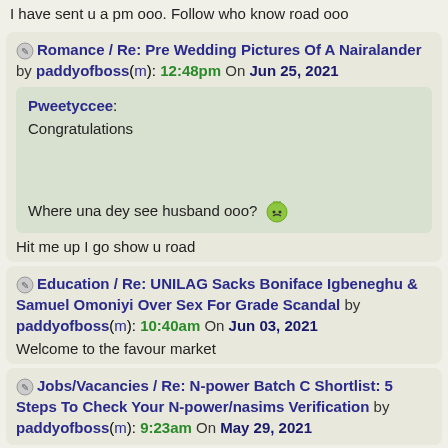I have sent u a pm ooo. Follow who know road ooo
Romance / Re: Pre Wedding Pictures Of A Nairalander by paddyofboss(m): 12:48pm On Jun 25, 2021
Pweetyccee:
Congratulations

Where una dey see husband ooo? 😕
Hit me up I go show u road
Education / Re: UNILAG Sacks Boniface Igbeneghu & Samuel Omoniyi Over Sex For Grade Scandal by paddyofboss(m): 10:40am On Jun 03, 2021
Welcome to the favour market
Jobs/Vacancies / Re: N-power Batch C Shortlist: 5 Steps To Check Your N-power/nasims Verification by paddyofboss(m): 9:23am On May 29, 2021